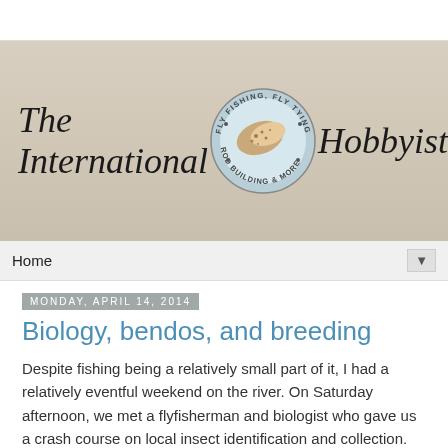[Figure (logo): The International Hobbyist blog header banner with cursive text and a circular fly fishing logo in the center reading 'FLY FISHING, FLY TYING, ROD BUILDING & MORE']
Home ▼
Monday, April 14, 2014
Biology, bendos, and breeding
Despite fishing being a relatively small part of it, I had a relatively eventful weekend on the river. On Saturday afternoon, we met a flyfisherman and biologist who gave us a crash course on local insect identification and collection. Once a month one of us will go out and collect all identifiable mayfly, stonefly, and caddisfly nymphs and adults and send